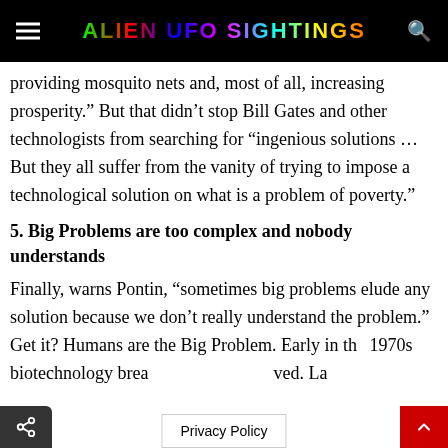ALIEN UFO SIGHTINGS
providing mosquito nets and, most of all, increasing prosperity.” But that didn’t stop Bill Gates and other technologists from searching for “ingenious solutions … But they all suffer from the vanity of trying to impose a technological solution on what is a problem of poverty.”
5. Big Problems are too complex and nobody understands
Finally, warns Pontin, “sometimes big problems elude any solution because we don’t really understand the problem.” Get it? Humans are the Big Problem. Early in the 1970s biotechnology break… ved. La…